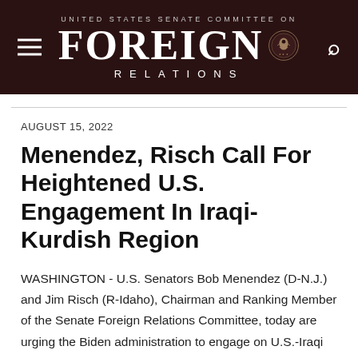UNITED STATES SENATE COMMITTEE ON FOREIGN RELATIONS
AUGUST 15, 2022
Menendez, Risch Call For Heightened U.S. Engagement In Iraqi-Kurdish Region
WASHINGTON - U.S. Senators Bob Menendez (D-N.J.) and Jim Risch (R-Idaho), Chairman and Ranking Member of the Senate Foreign Relations Committee, today are urging the Biden administration to engage on U.S.-Iraqi